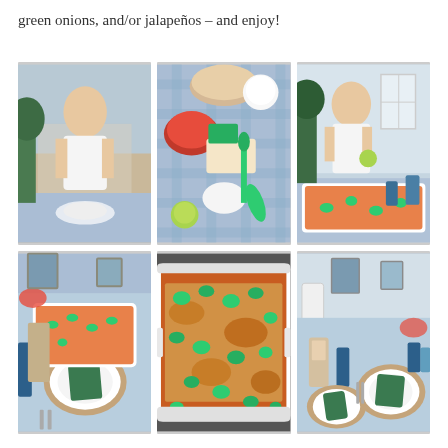green onions, and/or jalapeños – and enjoy!
[Figure (photo): Grid of 6 photos showing a woman in a kitchen with food preparation for enchiladas: woman smiling at table, overhead shot of taco ingredients on blue gingham tablecloth, woman holding lime near baking dish, table set for dinner, close-up of enchilada casserole with jalapeños, table setting with blue gingham cloth and green napkins]